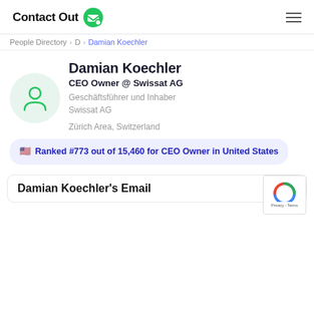ContactOut
People Directory > D > Damian Koechler
Damian Koechler
CEO Owner @ Swissat AG
Geschäftsführer und Inhaber Swissat AG
Zürich Area, Switzerland
Ranked #773 out of 15,460 for CEO Owner in United States
Damian Koechler's Email